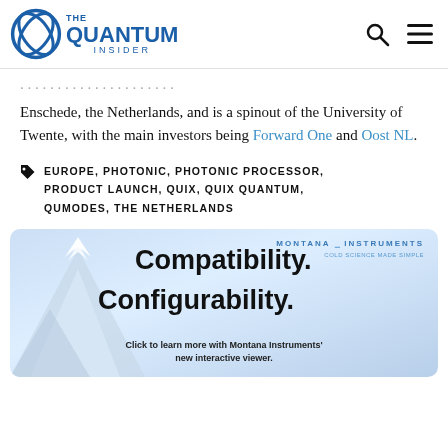The Quantum Insider
...Enschede, the Netherlands, and is a spinout of the University of Twente, with the main investors being Forward One and Oost NL.
EUROPE, PHOTONIC, PHOTONIC PROCESSOR, PRODUCT LAUNCH, QUIX, QUIX QUANTUM, QUMODES, THE NETHERLANDS
[Figure (illustration): Montana Instruments advertisement banner with mountain background. Text reads: Compatibility. Configurability. Click to learn more with Montana Instruments' new interactive viewer.]